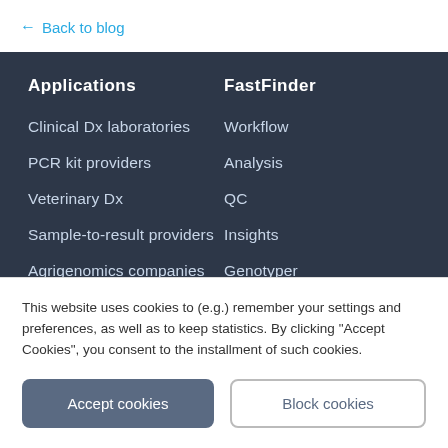← Back to blog
Applications
FastFinder
Clinical Dx laboratories
Workflow
PCR kit providers
Analysis
Veterinary Dx
QC
Sample-to-result providers
Insights
Agrigenomics companies
Genotyper
This website uses cookies to (e.g.) remember your settings and preferences, as well as to keep statistics. By clicking "Accept Cookies", you consent to the installment of such cookies.